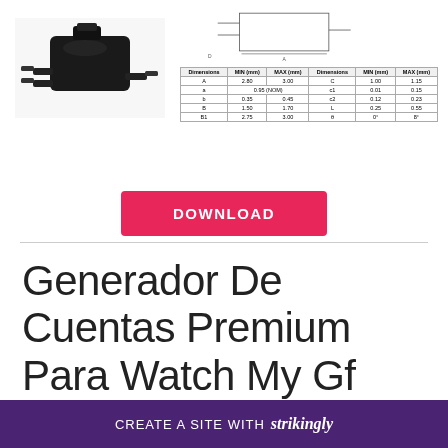[Figure (photo): Black electronic component (SOT-23 transistor package) photo]
[Figure (engineering-diagram): SOT-23 package schematic/dimension drawing with dimension table]
| Dimensions | MIN (mm) | MAX (mm) | Dimensions | MIN (mm) | MAX (mm) |
| --- | --- | --- | --- | --- | --- |
| A | 2.80 | 3.00 | C | 1.00 | 1.15 |
| a | 0.95 (NOM) |  | c1 | 0.01 | 0.15 |
| b | 0.35 | 0.45 | c2 | 0.12 | 0.23 |
| B | 1.50 | 1.70 | L | 0.25 | 0.55 |
| B1 | 2.75 | 3.00 | θ | 0° | 8° |
[Figure (other): Download button (pink/red background, white bold text DOWNLOAD)]
Generador De Cuentas Premium Para Watch My Gf
2800 watts, 120V: Trusted, quiet power for home...
CREATE A SITE WITH strikingly